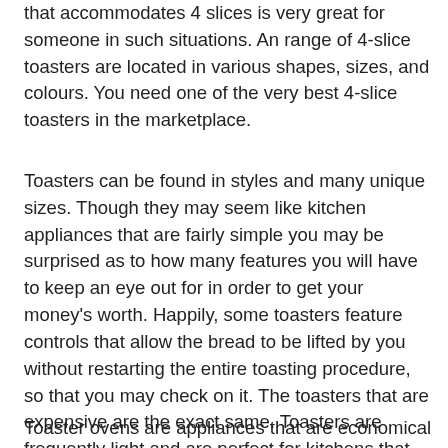that accommodates 4 slices is very great for someone in such situations. An range of 4-slice toasters are located in various shapes, sizes, and colours. You need one of the very best 4-slice toasters in the marketplace.
Toasters can be found in styles and many unique sizes. Though they may seem like kitchen appliances that are fairly simple you may be surprised as to how many features you will have to keep an eye out for in order to get your money's worth. Happily, some toasters feature controls that allow the bread to be lifted by you without restarting the entire toasting procedure, so that you may check on it. The toasters that are expensive are the exact same. Toasters are frequently light and are perfect for kitchens that are smaller, as in 1-2 lbs.
Toaster ovens are appliances that are economical and